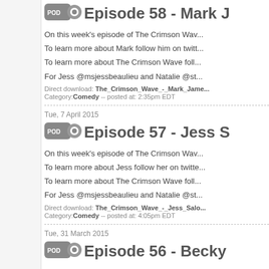Episode 58 - Mark J
On this week's episode of The Crimson Wav...
To learn more about Mark follow him on twit...
To learn more about The Crimson Wave foll...
For Jess @msjessbeaulieu and Natalie @st...
Direct download: The_Crimson_Wave_-_Mark_Jam... Category:Comedy -- posted at: 2:35pm EDT
Tue, 7 April 2015
Episode 57 - Jess S
On this week's episode of The Crimson Wav...
To learn more about Jess follow her on twitt...
To learn more about The Crimson Wave foll...
For Jess @msjessbeaulieu and Natalie @st...
Direct download: The_Crimson_Wave_-_Jess_Salo... Category:Comedy -- posted at: 4:05pm EDT
Tue, 31 March 2015
Episode 56 - Becky
On this week's episode of The Crimson Wav...
To learn more about Kayla and Becky and th...
@KaylaLgrette